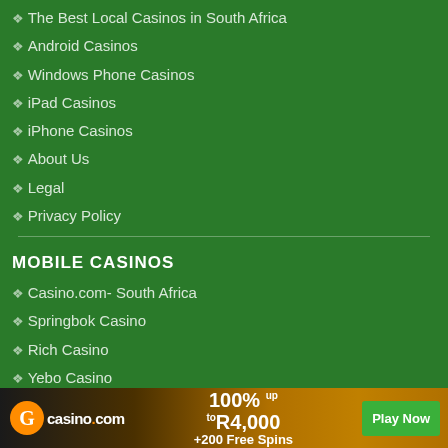The Best Local Casinos in South Africa
Android Casinos
Windows Phone Casinos
iPad Casinos
iPhone Casinos
About Us
Legal
Privacy Policy
MOBILE CASINOS
Casino.com- South Africa
Springbok Casino
Rich Casino
Yebo Casino
Punt Casino
Bet365 Casino Review
[Figure (infographic): Casino.com advertisement banner: orange logo with 'casino.com', offer text '100% up to R4,000 +200 Free Spins', green Play Now button]